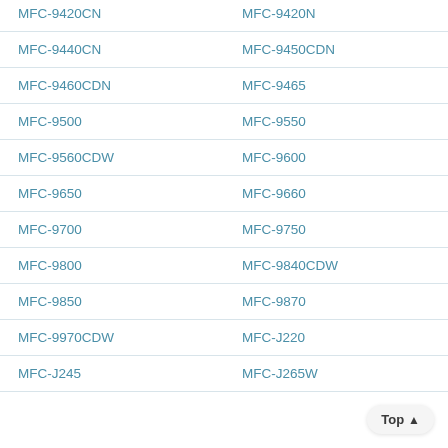| MFC-9420CN | MFC-9420N |
| MFC-9440CN | MFC-9450CDN |
| MFC-9460CDN | MFC-9465 |
| MFC-9500 | MFC-9550 |
| MFC-9560CDW | MFC-9600 |
| MFC-9650 | MFC-9660 |
| MFC-9700 | MFC-9750 |
| MFC-9800 | MFC-9840CDW |
| MFC-9850 | MFC-9870 |
| MFC-9970CDW | MFC-J220 |
| MFC-J245 | MFC-J265W |